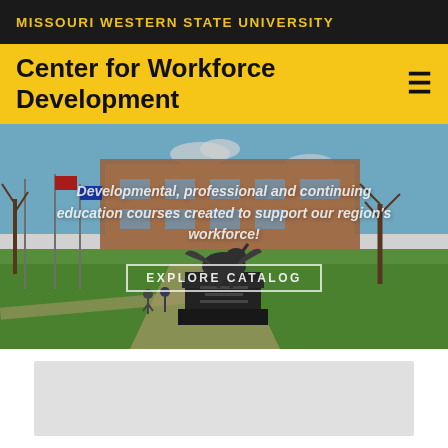MISSOURI WESTERN STATE UNIVERSITY
Center for Workforce Development
[Figure (photo): Campus photo showing a university building, green lawn, flagpoles, and a bronze griffin/pegasus statue on a dark pedestal in the foreground. Overlaid italic white text reads: Developmental, professional and continuing education courses created to support our region's workforce! A button below reads: EXPLORE CATALOG]
Developmental, professional and continuing education courses created to support our region's workforce!
EXPLORE CATALOG